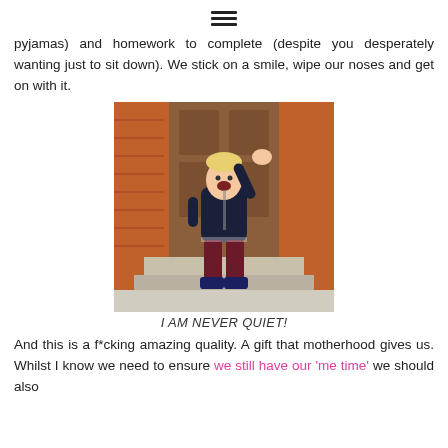☰
pyjamas) and homework to complete (despite you desperately wanting just to sit down). We stick on a smile, wipe our noses and get on with it.
[Figure (photo): Young toddler boy in navy jacket and dark red trousers standing on front doorstep with one arm raised high, mouth open, in front of a wooden door with red brick walls]
I AM NEVER QUIET!
And this is a f*cking amazing quality. A gift that motherhood gives us. Whilst I know we need to ensure we still have our 'me time' we should also